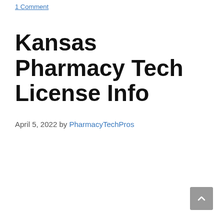1 Comment
Kansas Pharmacy Tech License Info
April 5, 2022 by PharmacyTechPros